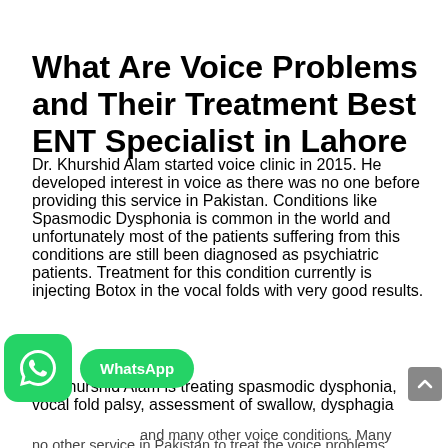What Are Voice Problems and Their Treatment Best ENT Specialist in Lahore
Dr. Khurshid Alam started voice clinic in 2015. He developed interest in voice as there was no one before providing this service in Pakistan. Conditions like Spasmodic Dysphonia is common in the world and unfortunately most of the patients suffering from this conditions are still been diagnosed as psychiatric patients. Treatment for this condition currently is injecting Botox in the vocal folds with very good results.
Dr. Khurshid Alam is treating spasmodic dysphonia, vocal fold palsy, assessment of swallow, dysphagia and many other voice conditions. Many professional singers are being treated by him, as there is no other service in Pakistan to treat the voice problems.